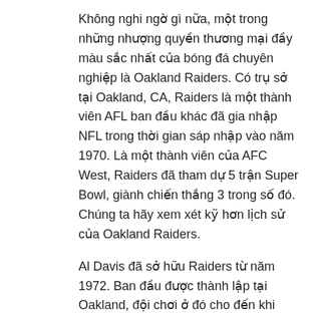Không nghi ngờ gì nữa, một trong những nhượng quyền thương mại đầy màu sắc nhất của bóng đá chuyên nghiệp là Oakland Raiders. Có trụ sở tại Oakland, CA, Raiders là một thành viên AFL ban đầu khác đã gia nhập NFL trong thời gian sáp nhập vào năm 1970. Là một thành viên của AFC West, Raiders đã tham dự 5 trận Super Bowl, giành chiến thắng 3 trong số đó. Chúng ta hãy xem xét kỹ hơn lịch sử của Oakland Raiders.
Al Davis đã sở hữu Raiders từ năm 1972. Ban đầu được thành lập tại Oakland, đội chơi ở đó cho đến khi Davis chuyển họ đến Los Angeles lịch thi đấu bundesliga vào năm 1982. Sau đó, đội chuyển trở lại Oakland vào năm 1995 và vẫn ở đó cho đến ngày nay.
Đội bóng đá đã có màu bạc và đen kể từ khi Davis làm tổng giám đốc của đội vào năm 1963. Ban đầu ông sử dụng những màu này vì tất cả TV chỉ có màu đen và trắng và những màu này hiển thị tốt hơn những màu khác.